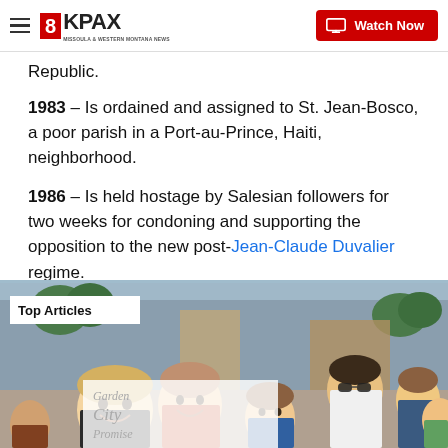8KPAX | Watch Now
Republic.
1983 – Is ordained and assigned to St. Jean-Bosco, a poor parish in a Port-au-Prince, Haiti, neighborhood.
1986 – Is held hostage by Salesian followers for two weeks for condoning and supporting the opposition to the new post-Jean-Claude Duvalier regime.
Recent Stories from kpax.com
[Figure (photo): Outdoor crowd scene on a main street with people smiling, overlaid with 'Top Articles' badge and Garden City logo. Photo shows children and adults at what appears to be a street fair or parade.]